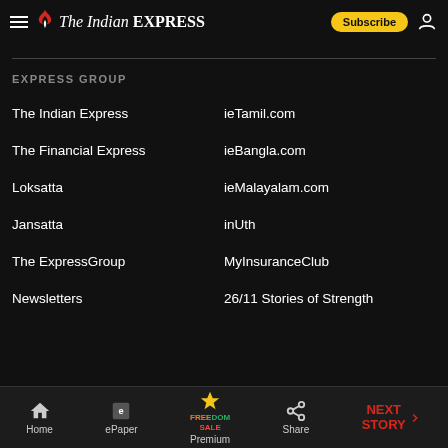The Indian Express — Subscribe
EXPRESS GROUP
The Indian Express
ieTamil.com
The Financial Express
ieBangla.com
Loksatta
ieMalayalam.com
Jansatta
inUth
The ExpressGroup
MyInsuranceClub
Newsletters
26/11 Stories of Strength
Home  ePaper  Premium  Share  NEXT STORY